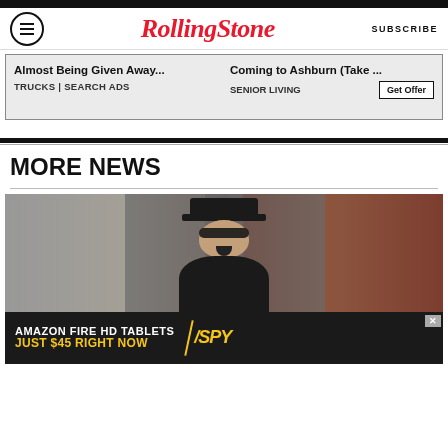RollingStone — SUBSCRIBE
[Figure (screenshot): Advertisement box with two columns: left column 'Almost Being Given Away... TRUCKS | SEARCH ADS', right column 'Coming to Ashburn (Take ... SENIOR LIVING' with 'Get Offer' button]
MORE NEWS
[Figure (photo): Photo of a person wearing a black leather cap and sunglasses, mouth open, with a blurred red floral background. Below is an Amazon Fire HD Tablets advertisement: 'AMAZON FIRE HD TABLETS JUST $45 RIGHT NOW' with SPY logo.]